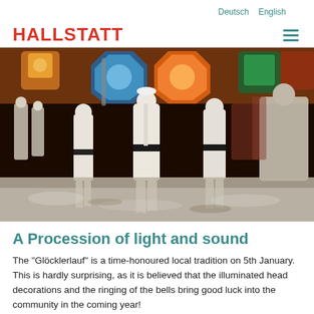HALLSTATT | Deutsch English
[Figure (photo): Night-time winter procession (Glöcklerlauf) with people in white traditional costumes carrying large illuminated octagonal head decorations, walking on snow-covered ground in a town setting.]
A Procession of light and sound
The "Glöcklerlauf" is a time-honoured local tradition on 5th January. This is hardly surprising, as it is believed that the illuminated head decorations and the ringing of the bells bring good luck into the community in the coming year!